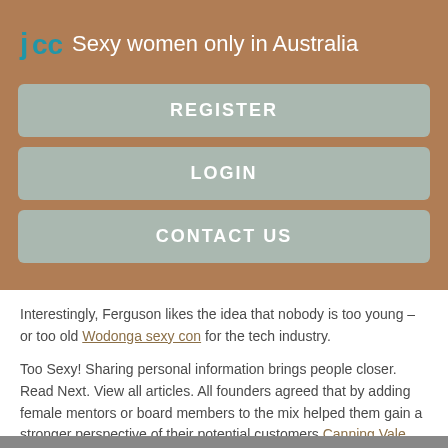Sexy women only in Australia
REGISTER
LOGIN
CONTACT US
Interestingly, Ferguson likes the idea that nobody is too young – or too old Wodonga sexy con for the tech industry.
Too Sexy! Sharing personal information brings people closer. Read Next. View all articles. All founders agreed that by adding female mentors or board members to the mix helped them gain a stronger perspective of their potential customers Canning Vale student portal Canning Vale attract more business.